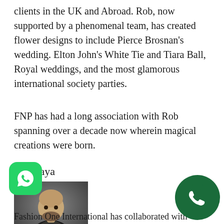clients in the UK and Abroad. Rob, now supported by a phenomenal team, has created flower designs to include Pierce Brosnan's wedding. Elton John's White Tie and Tiara Ball, Royal weddings, and the most glamorous international society parties.
FNP has had a long association with Rob spanning over a decade now wherein magical creations were born.
JJ Valaya
[Figure (photo): Portrait photo of JJ Valaya, a bald man with a beard wearing a dark vest over a light shirt]
[Figure (logo): WhatsApp green icon with phone handset]
[Figure (logo): Dark green circle with white phone call icon]
Fashion One International has collaborated with